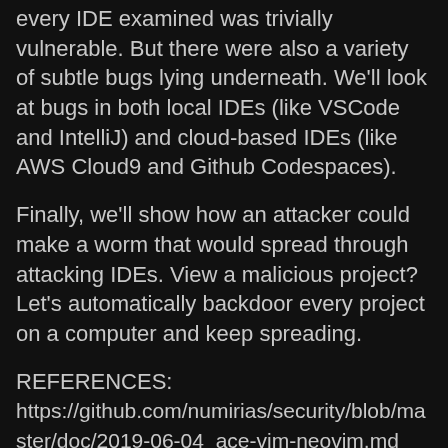every IDE examined was trivially vulnerable. But there were also a variety of subtle bugs lying underneath. We'll look at bugs in both local IDEs (like VSCode and IntelliJ) and cloud-based IDEs (like AWS Cloud9 and Github Codespaces).
Finally, we'll show how an attacker could make a worm that would spread through attacking IDEs. View a malicious project? Let's automatically backdoor every project on a computer and keep spreading.
REFERENCES:
https://github.com/numirias/security/blob/master/doc/2019-06-04_ace-vim-neovim.md
https://nvd.nist.gov/vuln/detail/CVE-2012-